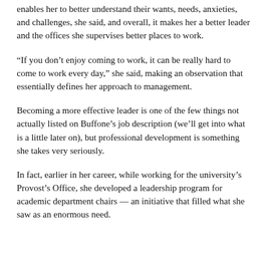enables her to better understand their wants, needs, anxieties, and challenges, she said, and overall, it makes her a better leader and the offices she supervises better places to work.
“If you don’t enjoy coming to work, it can be really hard to come to work every day,” she said, making an observation that essentially defines her approach to management.
Becoming a more effective leader is one of the few things not actually listed on Buffone’s job description (we’ll get into what is a little later on), but professional development is something she takes very seriously.
In fact, earlier in her career, while working for the university’s Provost’s Office, she developed a leadership program for academic department chairs — an initiative that filled what she saw as an enormous need.